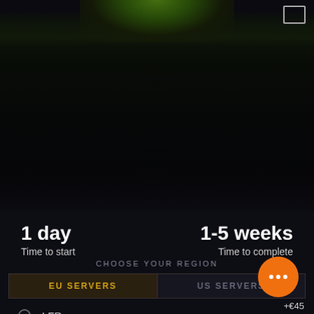[Figure (screenshot): Dark game interface screenshot showing a dark background with green glowing elements at the top, a corner box icon, time to start and time to complete stats, region selector tabs (EU Servers / US Servers), and radio button options for LFR and Normal difficulty]
1 day
Time to start
1-5 weeks
Time to complete
CHOOSE YOUR REGION
EU SERVERS
US SERVERS
LFR
Normal